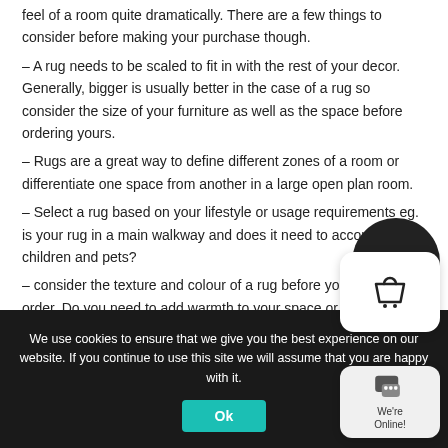feel of a room quite dramatically. There are a few things to consider before making your purchase though.
– A rug needs to be scaled to fit in with the rest of your decor. Generally, bigger is usually better in the case of a rug so consider the size of your furniture as well as the space before ordering yours.
– Rugs are a great way to define different zones of a room or differentiate one space from another in a large open plan room.
– Select a rug based on your lifestyle or usage requirements eg. is your rug in a main walkway and does it need to accommodate children and pets?
– consider the texture and colour of a rug before you place your order. Do you need to add warmth to your space or alternatively...
We use cookies to ensure that we give you the best experience on our website. If you continue to use this site we will assume that you are happy with it.